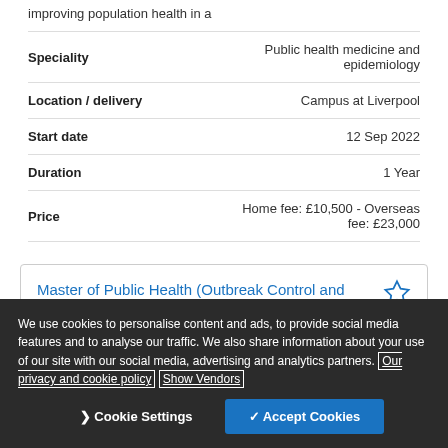improving population health in a
| Field | Value |
| --- | --- |
| Speciality | Public health medicine and epidemiology |
| Location / delivery | Campus at Liverpool |
| Start date | 12 Sep 2022 |
| Duration | 1 Year |
| Price | Home fee: £10,500 - Overseas fee: £23,000 |
Master of Public Health (Outbreak Control and Health Protection)
We use cookies to personalise content and ads, to provide social media features and to analyse our traffic. We also share information about your use of our site with our social media, advertising and analytics partners. Our privacy and cookie policy Show Vendors
Cookie Settings  ✓ Accept Cookies